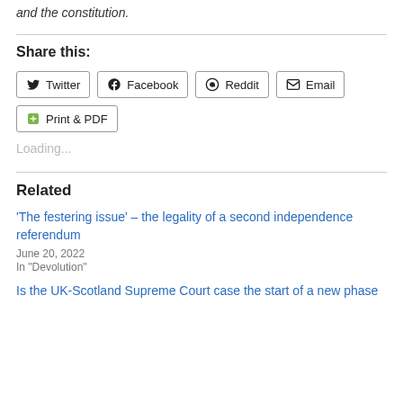and the constitution.
Share this:
Twitter Facebook Reddit Email Print & PDF
Loading...
Related
'The festering issue' – the legality of a second independence referendum
June 20, 2022
In "Devolution"
Is the UK-Scotland Supreme Court case the start of a new phase